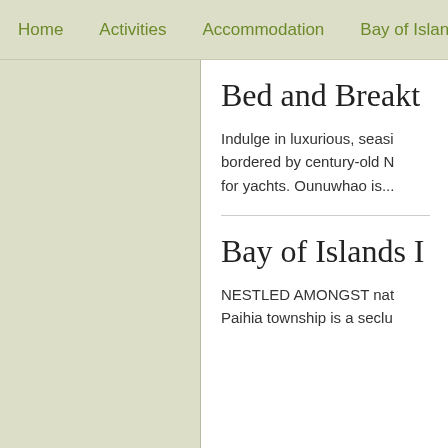Home   Activities   Accommodation   Bay of Islands a
Bed and Breakt
Indulge in luxurious, seasi bordered by century-old N for yachts. Ounuwhao is...
Bay of Islands I
NESTLED AMONGST nat Paihia township is a seclu